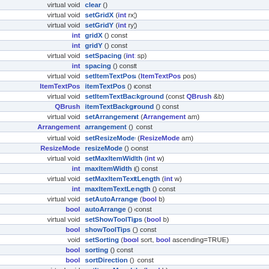| Return Type | Method Signature |
| --- | --- |
| virtual void | clear () |
| virtual void | setGridX (int rx) |
| virtual void | setGridY (int ry) |
| int | gridX () const |
| int | gridY () const |
| virtual void | setSpacing (int sp) |
| int | spacing () const |
| virtual void | setItemTextPos (ItemTextPos pos) |
| ItemTextPos | itemTextPos () const |
| virtual void | setItemTextBackground (const QBrush &b) |
| QBrush | itemTextBackground () const |
| virtual void | setArrangement (Arrangement am) |
| Arrangement | arrangement () const |
| virtual void | setResizeMode (ResizeMode am) |
| ResizeMode | resizeMode () const |
| virtual void | setMaxItemWidth (int w) |
| int | maxItemWidth () const |
| virtual void | setMaxItemTextLength (int w) |
| int | maxItemTextLength () const |
| virtual void | setAutoArrange (bool b) |
| bool | autoArrange () const |
| virtual void | setShowToolTips (bool b) |
| bool | showToolTips () const |
| void | setSorting (bool sort, bool ascending=TRUE) |
| bool | sorting () const |
| bool | sortDirection () const |
| virtual void | setItemsMovable (bool b) |
| bool | itemsMovable () const |